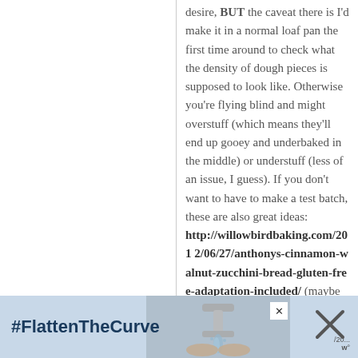desire, BUT the caveat there is I'd make it in a normal loaf pan the first time around to check what the density of dough pieces is supposed to look like. Otherwise you're flying blind and might overstuff (which means they'll end up gooey and underbaked in the middle) or understuff (less of an issue, I guess). If you don't want to have to make a test batch, these are also great ideas: http://willowbirdbaking.com/2012/06/27/anthonys-cinnamon-walnut-zucchini-bread-gluten-free-adaptation-included/ (maybe
[Figure (infographic): Advertisement banner with #FlattenTheCurve text and an image of hands being washed under a faucet, with a close/X button]